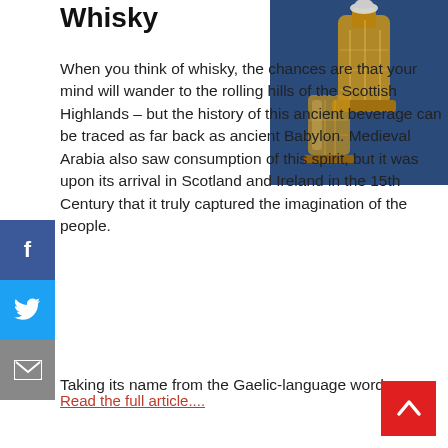Whisky
[Figure (photo): Crystal whisky decanter and glass with amber whisky on a blue background]
When you think of whisky, the chances are that your mind will wander to the rolling hills of the Scottish Highlands – but the history of this ancient beverage can be traced as far back as ancient Babylon. Medieval Arabia also saw consumption of this spirit, but it was upon its arrival in Scotland and Ireland in the 15th Century that it truly captured the imagination of the people.
Taking its name from the Gaelic-language word
Read the full article....